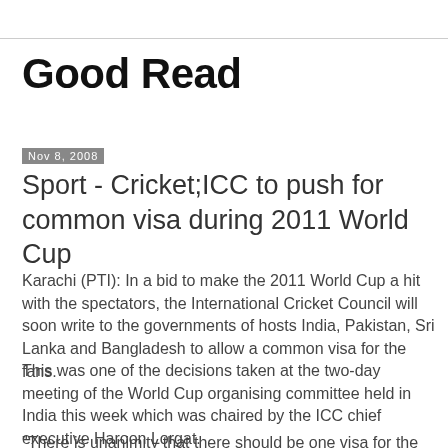Good Read
Nov 8, 2008
Sport - Cricket;ICC to push for common visa during 2011 World Cup
Karachi (PTI): In a bid to make the 2011 World Cup a hit with the spectators, the International Cricket Council will soon write to the governments of hosts India, Pakistan, Sri Lanka and Bangladesh to allow a common visa for the fans.
This was one of the decisions taken at the two-day meeting of the World Cup organising committee held in India this week which was chaired by the ICC chief executive Haroon Lorgat.
"There is unanimity that there should be one visa for the four South Asian countries for the World Cup and the ICC will be